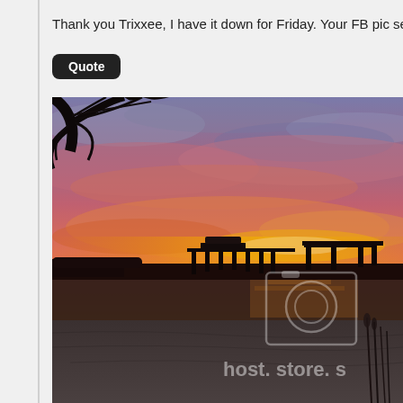Thank you Trixxee, I have it down for Friday. Your FB pic sealed th
Quote
[Figure (photo): A vivid sunset over a calm lake or bay with a wooden pier/dock visible in silhouette against the colorful sky of orange, red, pink, and purple hues. Sandy shoreline in foreground with reeds. Tree branches hang from the upper left. A photobucket watermark camera icon and 'host. store. s' text overlay is visible.]